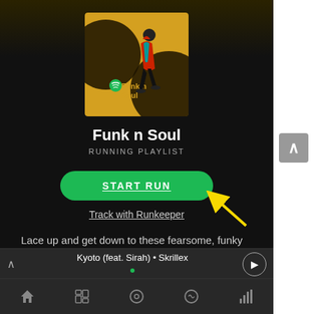[Figure (screenshot): Spotify app screenshot showing 'Funk n Soul' running playlist page with album art, START RUN button with yellow arrow annotation, Track with Runkeeper link, description text, Featuring section, now playing bar, and bottom navigation]
Funk n Soul
RUNNING PLAYLIST
START RUN
Track with Runkeeper
Lace up and get down to these fearsome, funky beats.
Featuring
Various Artists, Sam Samudio, Diana Ross, Charles Walker & The Dynamites, Martha Reeves & The
Kyoto (feat. Sirah) • Skrillex